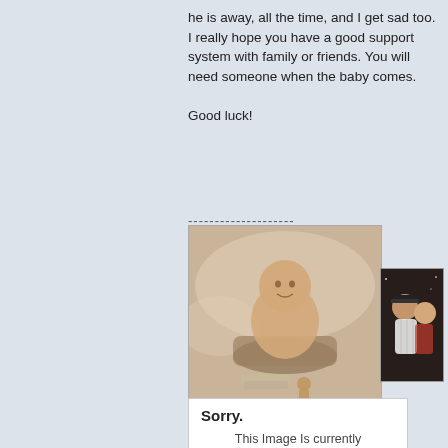he is away, all the time, and I get sad too. I really hope you have a good support system with family or friends. You will need someone when the baby comes.

Good luck!
[Figure (photo): Sepia-toned photo of a baby sitting in a small tub with a toy doll and folded towels]
[Figure (photo): Dark photo of a couple, one person wearing a baseball cap and white pinstripe jersey]
[Figure (screenshot): Photobucket error box reading 'Sorry. This Image Is currently Unavailable' with Photobucket logo]